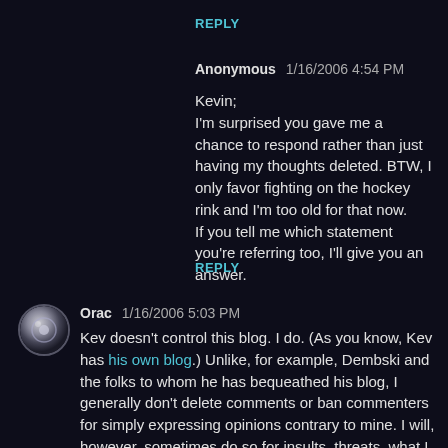REPLY
Anonymous   1/16/2006 4:54 PM
Kevin;
I'm surprised you gave me a chance to respond rather than just having my thoughts deleted. BTW, I only favor fighting on the hockey rink and I'm too old for that now.
If you tell me which statement you're referring too, I'll give you an answer.
REPLY
Orac   1/16/2006 5:03 PM
Kev doesn't control this blog. I do. (As you know, Kev has his own blog.) Unlike, for example, Dembski and the folks to whom he has bequeathed his blog, I generally don't delete comments or ban commenters for simply expressing opinions contrary to mine. I will, however, sometimes do so for insults, threats, what I deem to be excessively